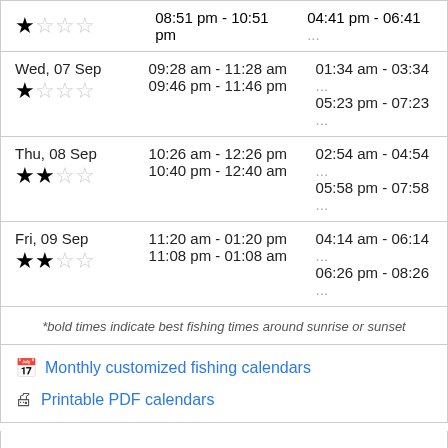| Date | Times | Times2 |
| --- | --- | --- |
| (1 star) | 08:51 pm - 10:51 pm | 04:41 pm - 06:41 ... |
| Wed, 07 Sep (1 star) | 09:28 am - 11:28 am
09:46 pm - 11:46 pm | 01:34 am - 03:34 ...
05:23 pm - 07:23 ... |
| Thu, 08 Sep (2 stars) | 10:26 am - 12:26 pm
10:40 pm - 12:40 am | 02:54 am - 04:54 ...
05:58 pm - 07:58 ... |
| Fri, 09 Sep (2 stars) | 11:20 am - 01:20 pm
11:08 pm - 01:08 am | 04:14 am - 06:14 ...
06:26 pm - 08:26 ... |
*bold times indicate best fishing times around sunrise or sunset
Monthly customized fishing calendars
Printable PDF calendars
At fishingreminder we don't hide behind our desk. We are